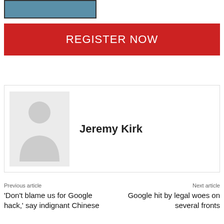[Figure (photo): Partial image at top, showing a blue/teal colored graphic or photo, cropped at the top of the page]
REGISTER NOW
[Figure (illustration): Author avatar placeholder — gray box with a white silhouette of a person]
Jeremy Kirk
Previous article
‘Don’t blame us for Google hack,’ say indignant Chinese
Next article
Google hit by legal woes on several fronts